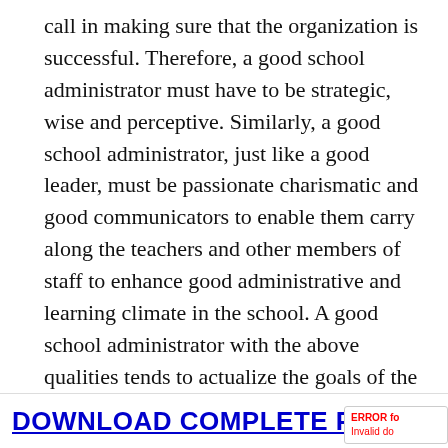call in making sure that the organization is successful. Therefore, a good school administrator must have to be strategic, wise and perceptive. Similarly, a good school administrator, just like a good leader, must be passionate charismatic and good communicators to enable them carry along the teachers and other members of staff to enhance good administrative and learning climate in the school. A good school administrator with the above qualities tends to actualize the goals of the school in terms of improving teaching and learning alongside welfare of the staff.
DOWNLOAD COMPLETE PROJ